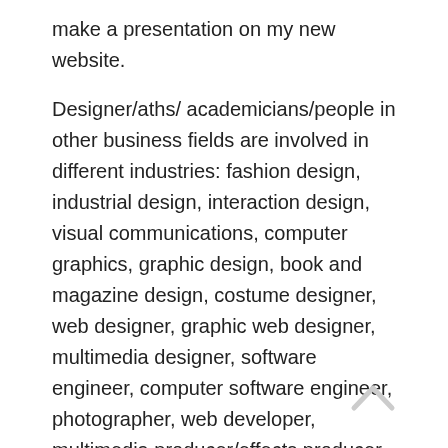make a presentation on my new website.
Designer/aths/ academicians/people in other business fields are involved in different industries: fashion design, industrial design, interaction design, visual communications, computer graphics, graphic design, book and magazine design, costume designer, web designer, graphic web designer, multimedia designer, software engineer, computer software engineer, photographer, web developer, multimedia producer/effects producer, theatrical designer, TV/DVD designer, graphic production designer, art director, video game designer, and more. As we said, designers are very involved in the business world, although most are not formally trained economists, politicians, or business consultants. These days they